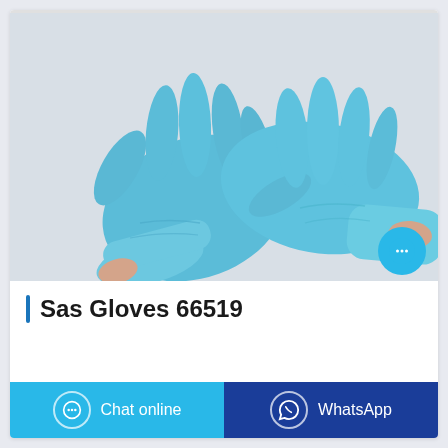[Figure (photo): Two hands wearing blue nitrile/vinyl disposable gloves placed flat on a light surface, photographed from above]
Sas Gloves 66519